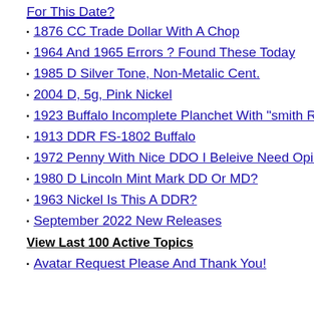1876 CC Trade Dollar With A Chop
1964 And 1965 Errors ? Found These Today
1985 D Silver Tone, Non-Metalic Cent.
2004 D, 5g, Pink Nickel
1923 Buffalo Incomplete Planchet With "smith R
1913 DDR FS-1802 Buffalo
1972 Penny With Nice DDO I Beleive Need Opin
1980 D Lincoln Mint Mark DD Or MD?
1963 Nickel Is This A DDR?
September 2022 New Releases
View Last 100 Active Topics
Avatar Request Please And Thank You!